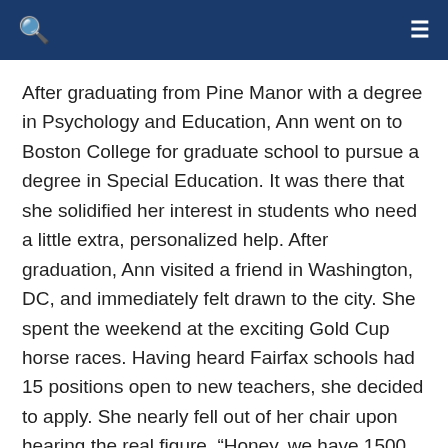navigation bar with search and menu icons
After graduating from Pine Manor with a degree in Psychology and Education, Ann went on to Boston College for graduate school to pursue a degree in Special Education. It was there that she solidified her interest in students who need a little extra, personalized help. After graduation, Ann visited a friend in Washington, DC, and immediately felt drawn to the city. She spent the weekend at the exciting Gold Cup horse races. Having heard Fairfax schools had 15 positions open to new teachers, she decided to apply. She nearly fell out of her chair upon hearing the real figure. “Honey, we have 1500 jobs,” exclaimed the